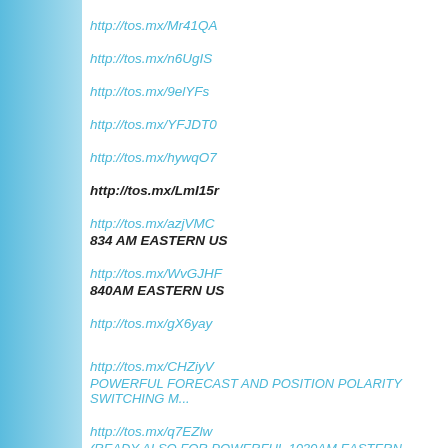http://tos.mx/Mr41QA
http://tos.mx/n6UgIS
http://tos.mx/9elYFs
http://tos.mx/YFJDT0
http://tos.mx/hywqO7
http://tos.mx/LmI15r
http://tos.mx/azjVMC
834 AM EASTERN US
http://tos.mx/WvGJHF
840AM EASTERN US
http://tos.mx/gX6yay
http://tos.mx/CHZiyV
POWERFUL FORECAST AND POSITION POLARITY SWITCHING M...
http://tos.mx/q7EZlw
(READY ALSO FOR POWERFUL 1030AM EASTERN POSITION POLA...
http://tos.mx/BxzuP0